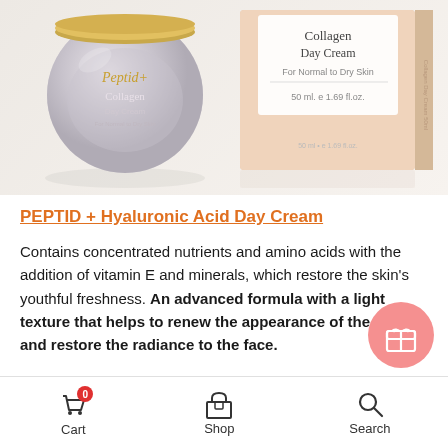[Figure (photo): Product photo showing a gray/lavender glass jar of Peptid+ Collagen Day Cream on the left and its peach/beige packaging box on the right. Box text: Collagen Day Cream, For Normal to Dry Skin, 50 ml. e 1.69 fl.oz.]
PEPTID + Hyaluronic Acid Day Cream
Contains concentrated nutrients and amino acids with the addition of vitamin E and minerals, which restore the skin's youthful freshness. An advanced formula with a light texture that helps to renew the appearance of the skin and restore the radiance to the face.
Cart  Shop  Search